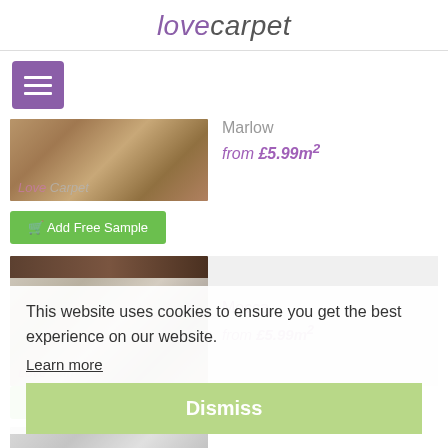lovecarpet
[Figure (screenshot): Purple hamburger menu button with three white horizontal lines]
[Figure (photo): Marlow carpet product image - brown/beige textured carpet with Love Carpet watermark]
Marlow
from £5.99m²
Add Free Sample
[Figure (photo): Mocca carpet product image - light grey/beige textured carpet with Love Carpet watermark]
Mocca
from £5.99m²
Add Free Sample
This website uses cookies to ensure you get the best experience on our website.
Learn more
Dismiss
[Figure (photo): Silver carpet product image - light grey textured carpet (partially visible)]
Silver